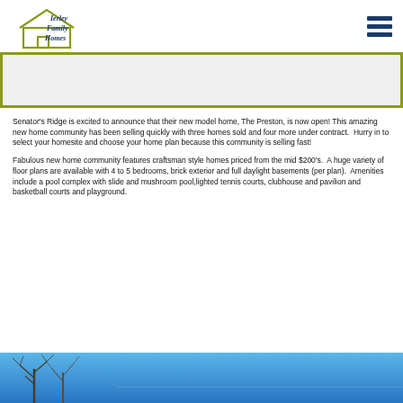[Figure (logo): Ierley Family Homes logo — house outline in olive/yellow-green with cursive company name]
[Figure (other): Hamburger menu icon (three horizontal dark navy bars)]
[Figure (other): Olive-bordered banner/hero image strip (light gray fill, olive/yellow-green border)]
Senator's Ridge is excited to announce that their new model home, The Preston, is now open! This amazing new home community has been selling quickly with three homes sold and four more under contract.  Hurry in to select your homesite and choose your home plan because this community is selling fast!
Fabulous new home community features craftsman style homes priced from the mid $200's.  A huge variety of floor plans are available with 4 to 5 bedrooms, brick exterior and full daylight basements (per plan).  Amenities include a pool complex with slide and mushroom pool,lighted tennis courts, clubhouse and pavilion and basketball courts and playground.
[Figure (photo): Partial photo of a house exterior against a blue sky with bare winter trees in the foreground — cropped at the bottom of the page]